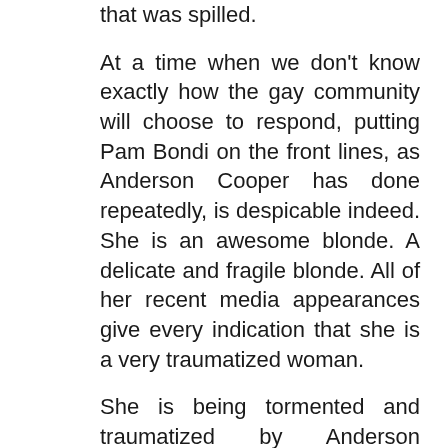that was spilled.
At a time when we don't know exactly how the gay community will choose to respond, putting Pam Bondi on the front lines, as Anderson Cooper has done repeatedly, is despicable indeed. She is an awesome blonde. A delicate and fragile blonde. All of her recent media appearances give every indication that she is a very traumatized woman.
She is being tormented and traumatized by Anderson Cooper.